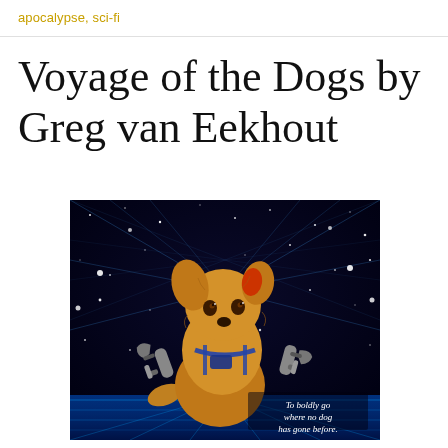apocalypse, sci-fi
Voyage of the Dogs by Greg van Eekhout
[Figure (illustration): Book cover illustration of a small scruffy golden-brown dog wearing a harness with robotic arms holding tools, set against a dark starry space background with glowing grid lines. Text in lower right reads: 'To boldly go where no dog has gone before.']